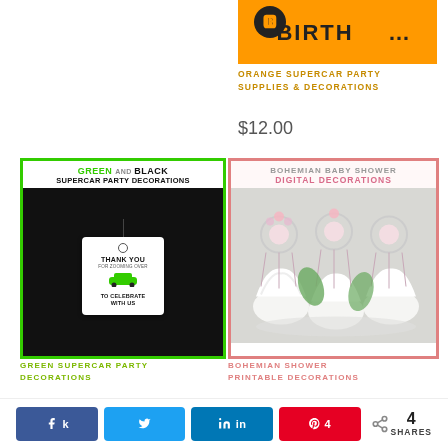[Figure (photo): Orange supercar party birthday banner image with orange/black colors]
ORANGE SUPERCAR PARTY SUPPLIES & DECORATIONS
$12.00
[Figure (photo): Green and Black Supercar Party Decorations product image showing a thank you tag on a black gift bag]
[Figure (photo): Bohemian Baby Shower Digital Decorations product image showing dreamcatcher cupcake toppers]
GREEN SUPERCAR PARTY DECORATIONS
BOHEMIAN SHOWER PRINTABLE DECORATIONS
4 SHARES